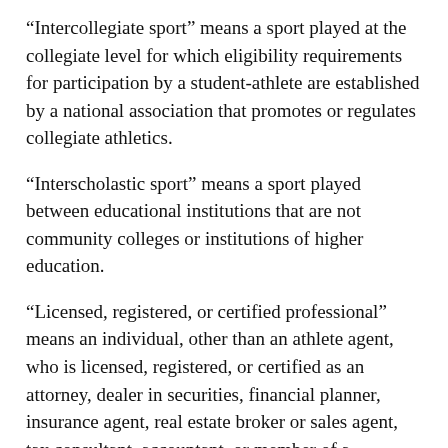"Intercollegiate sport" means a sport played at the collegiate level for which eligibility requirements for participation by a student-athlete are established by a national association that promotes or regulates collegiate athletics.
"Interscholastic sport" means a sport played between educational institutions that are not community colleges or institutions of higher education.
"Licensed, registered, or certified professional" means an individual, other than an athlete agent, who is licensed, registered, or certified as an attorney, dealer in securities, financial planner, insurance agent, real estate broker or sales agent, tax consultant, accountant, or member of a profession by the Commonwealth or a nationally recognized organization that licenses, registers, or certifies members of the profession on the basis of experience, education, or testing.
"Person" means an individual, estate, business or